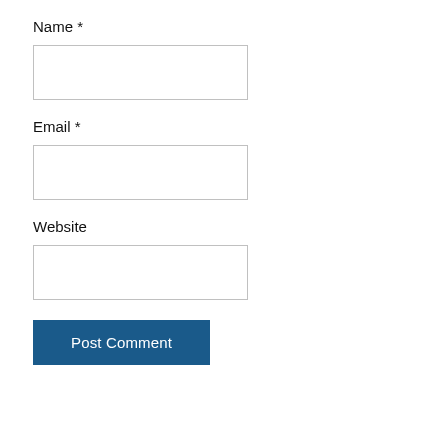Name *
[Figure (other): Empty text input field for Name]
Email *
[Figure (other): Empty text input field for Email]
Website
[Figure (other): Empty text input field for Website]
[Figure (other): Post Comment button, dark blue background, white text]